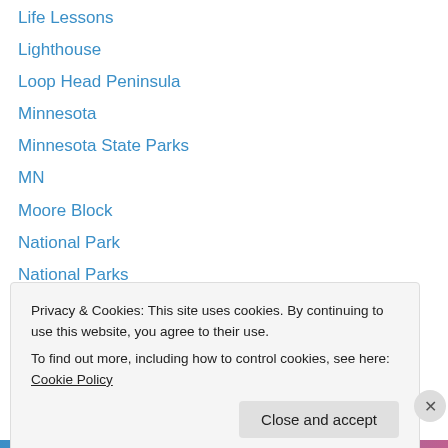Life Lessons
Lighthouse
Loop Head Peninsula
Minnesota
Minnesota State Parks
MN
Moore Block
National Park
National Parks
National Trust
Nature
North Dakota
North Shore
Privacy & Cookies: This site uses cookies. By continuing to use this website, you agree to their use. To find out more, including how to control cookies, see here: Cookie Policy
Close and accept